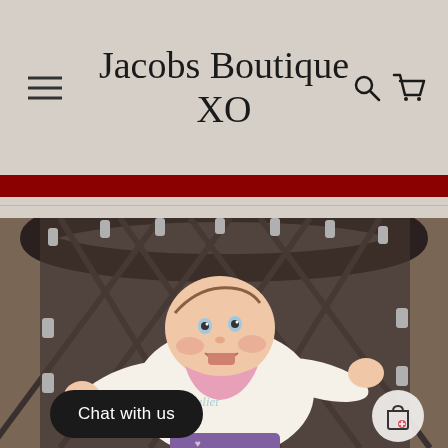Jacobs Boutique XO
[Figure (photo): A smiling baby lying on a dark rope net swing/basket, wearing a cream hoodie with cursive lettering and a pink bib, arms outstretched, with purple item visible at bottom]
Chat with us